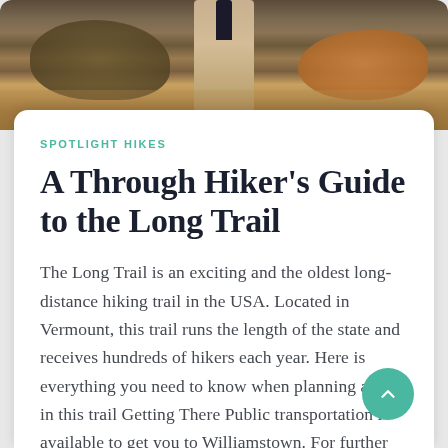[Figure (photo): A hiker on a narrow trail through autumn shrubs and grasses in Vermont]
SPOTLIGHT HIKES
A Through Hiker's Guide to the Long Trail
The Long Trail is an exciting and the oldest long-distance hiking trail in the USA. Located in Vermount, this trail runs the length of the state and receives hundreds of hikers each year. Here is everything you need to know when planning a hike in this trail Getting There Public transportation is available to get you to Williamstown. For further information, see New England Travel